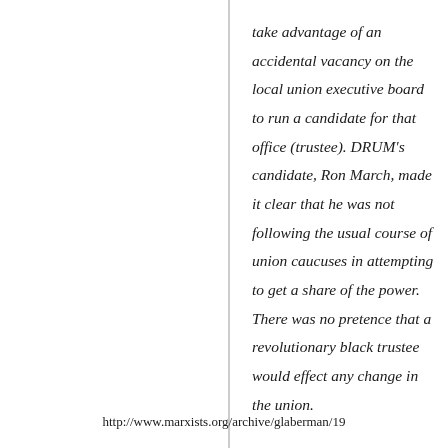take advantage of an accidental vacancy on the local union executive board to run a candidate for that office (trustee). DRUM's candidate, Ron March, made it clear that he was not following the usual course of union caucuses in attempting to get a share of the power. There was no pretence that a revolutionary black trustee would effect any change in the union.
http://www.marxists.org/archive/glaberman/19